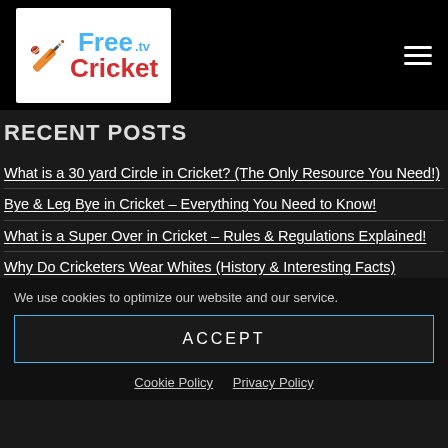Free.tv Cricket logo and navigation header
Recent Posts
What is a 30 yard Circle in Cricket? (The Only Resource You Need!)
Bye & Leg Bye in Cricket – Everything You Need to Know!
What is a Super Over in Cricket – Rules & Regulations Explained!
Why Do Cricketers Wear Whites (History & Interesting Facts)
What is a Powerplay in Cricket? (Basic Rules You Need to Know)
We use cookies to optimize our website and our service.
ACCEPT
Cookie Policy   Privacy Policy